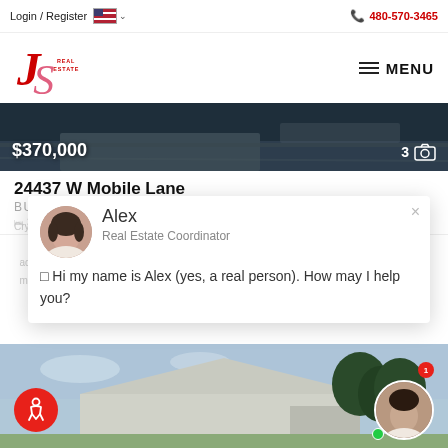Login / Register | 480-570-3465
[Figure (logo): JS Real Estate logo in red and pink cursive letters]
MENU
[Figure (photo): Dark property/driveway photo with price $370,000 and camera count 3]
24437 W Mobile Lane
BUCKEYE, AZ 85326
[Figure (screenshot): Chat popup with agent Alex, Real Estate Coordinator. Message: Hi my name is Alex (yes, a real person). How may I help you?]
[Figure (photo): Bottom section showing house exterior photo with accessibility button and agent avatar]